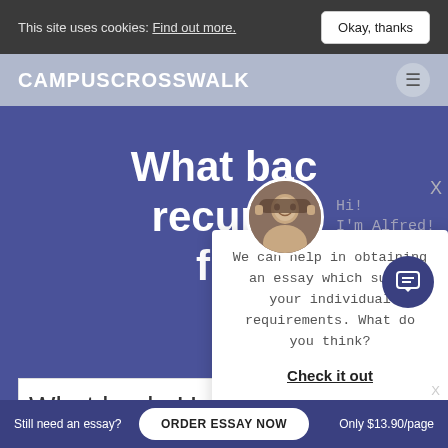This site uses cookies: Find out more.   Okay, thanks
CAMPUSCROSSWALK
What back recurre fru
Hi! I'm Alfred!
We can help in obtaining an essay which suits your individual requirements. What do you think?
Check it out
What back. Unexpected
Still need an essay?   ORDER ESSAY NOW   Only $13.90/page